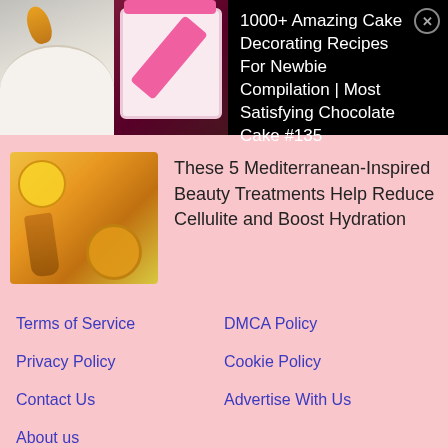[Figure (screenshot): Two cake decorating images side by side: left shows a white round cake with yellow decorating tip, right shows a heart-shaped gift box cake with pink ribbon]
1000+ Amazing Cake Decorating Recipes For Newbie Compilation | Most Satisfying Chocolate Cake #135
[Figure (photo): Photo of honey jars with honey dipper and oranges/lemons on a yellow background]
These 5 Mediterranean-Inspired Beauty Treatments Help Reduce Cellulite and Boost Hydration
Terms of Service
DMCA Policy
Privacy Policy
Cookie Policy
Contact Us
Advertise With Us
About us